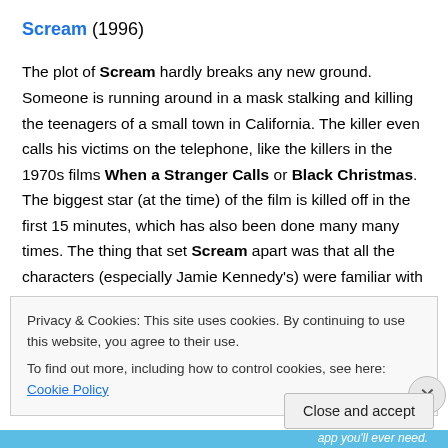Scream (1996)
The plot of Scream hardly breaks any new ground. Someone is running around in a mask stalking and killing the teenagers of a small town in California. The killer even calls his victims on the telephone, like the killers in the 1970s films When a Stranger Calls or Black Christmas. The biggest star (at the time) of the film is killed off in the first 15 minutes, which has also been done many many times. The thing that set Scream apart was that all the characters (especially Jamie Kennedy's) were familiar with
Privacy & Cookies: This site uses cookies. By continuing to use this website, you agree to their use.
To find out more, including how to control cookies, see here: Cookie Policy
Close and accept